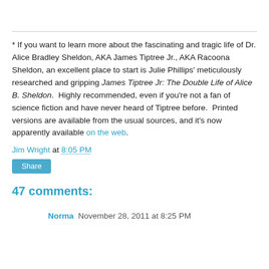* If you want to learn more about the fascinating and tragic life of Dr. Alice Bradley Sheldon, AKA James Tiptree Jr., AKA Racoona Sheldon, an excellent place to start is Julie Phillips' meticulously researched and gripping James Tiptree Jr: The Double Life of Alice B. Sheldon.  Highly recommended, even if you're not a fan of science fiction and have never heard of Tiptree before.  Printed versions are available from the usual sources, and it's now apparently available on the web.
Jim Wright at 8:05 PM
Share
47 comments:
Norma  November 28, 2011 at 8:25 PM